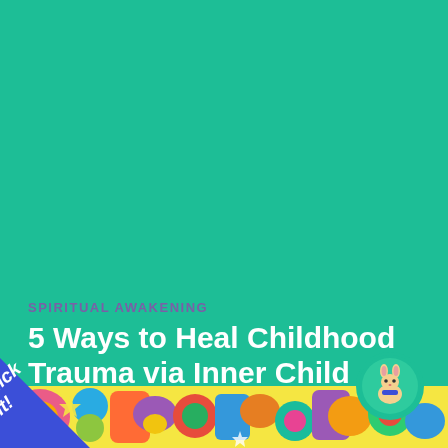SPIRITUAL AWAKENING
5 Ways to Heal Childhood Trauma via Inner Child Work
1 APR, 2021
[Figure (illustration): Colorful psychedelic mandala/doodle art strip at the bottom of the page with rainbow colors]
[Figure (logo): Green circle with cartoon rabbit/bunny mascot logo in bottom right corner]
[Figure (other): Blue diagonal triangle banner in bottom left corner with italic white text 'Click it!']